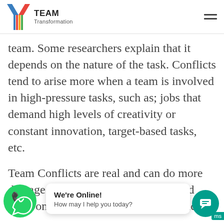TEAM Transformation
team. Some researchers explain that it depends on the nature of the task. Conflicts tend to arise more when a team is involved in high-pressure tasks, such as; jobs that demand high levels of creativity or constant innovation, target-based tasks, etc.
Team Conflicts are real and can do more damage than what meets the eye. Read more on tips on managing team conflict.
ys of Managing Conflicts in Team